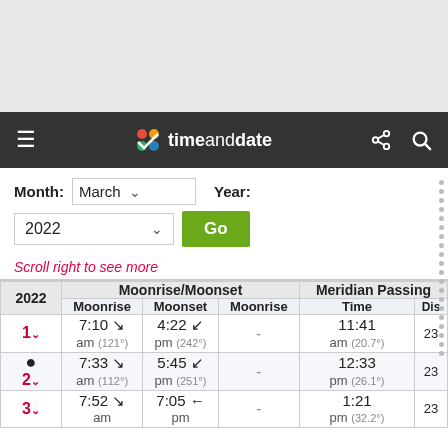timeanddate navigation bar
Month: March  Year: 2022
Scroll right to see more
| 2022 | Moonrise/Moonset |  |  | Meridian Passing | Dis |
| --- | --- | --- | --- | --- | --- |
| Mar | Moonrise | Moonset | Moonrise | Time | Dis |
| 1 | 7:10 am (121°) | 4:22 pm (242°) | - | 11:41 am (20.7°) | 23 |
| 2 | 7:33 am (112°) | 5:45 pm (251°) | - | 12:33 pm (26.1°) | 23 |
| 3 | 7:52 am | 7:05 pm | - | 1:21 pm (32.2°) | 23 |